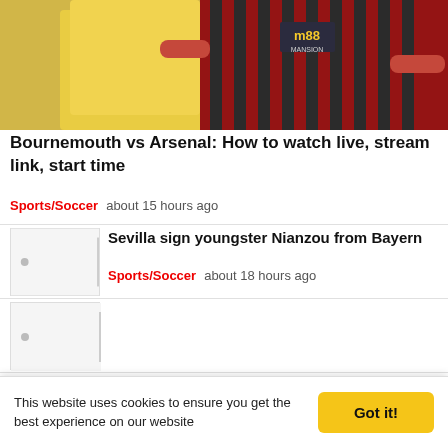[Figure (photo): Sports photo showing football players, one in red and black striped Bournemouth jersey with m88/Mansion sponsorship, another in yellow]
Bournemouth vs Arsenal: How to watch live, stream link, start time
Sports/Soccer   about 15 hours ago
Sevilla sign youngster Nianzou from Bayern
Sports/Soccer   about 18 hours ago
[Figure (photo): Thumbnail image placeholder for Sevilla/Nianzou article]
[Figure (photo): Thumbnail image placeholder for third article]
Ineos billionaire Ratcliffe 'potential buyer of Man Utd'
This website uses cookies to ensure you get the best experience on our website